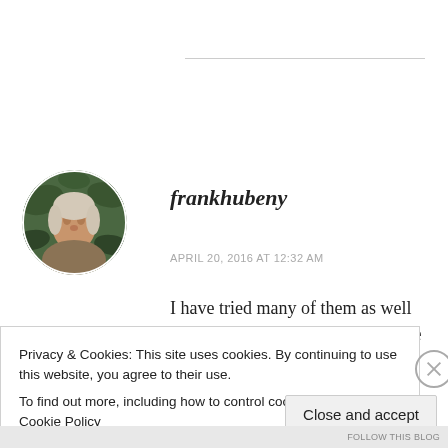[Figure (photo): Circular avatar photo of a person (frankhubeny) with greenery in background]
frankhubeny
APRIL 20, 2016 AT 12:32 AM
I have tried many of them as well and they seem helpful. I also recite mantras as a way to
Privacy & Cookies: This site uses cookies. By continuing to use this website, you agree to their use.
To find out more, including how to control cookies, see here: Cookie Policy
Close and accept